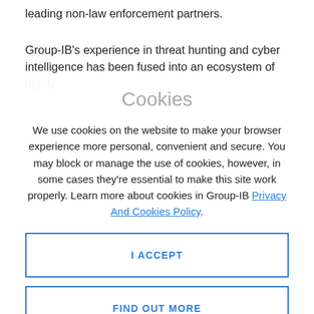leading non-law enforcement partners.
Group-IB's experience in threat hunting and cyber intelligence has been fused into an ecosystem of highly
Cookies
We use cookies on the website to make your browser experience more personal, convenient and secure. You may block or manage the use of cookies, however, in some cases they're essential to make this site work properly. Learn more about cookies in Group-IB Privacy And Cookies Policy.
I ACCEPT
FIND OUT MORE